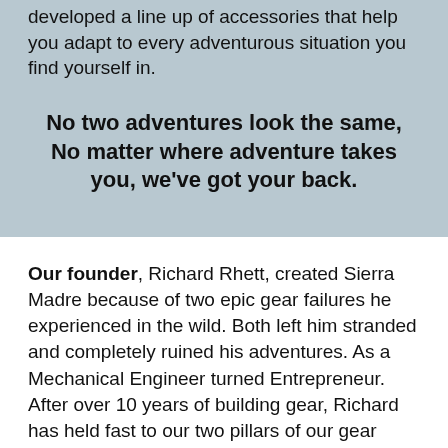developed a line up of accessories that help you adapt to every adventurous situation you find yourself in.
No two adventures look the same, No matter where adventure takes you, we've got your back.
Our founder, Richard Rhett, created Sierra Madre because of two epic gear failures he experienced in the wild. Both left him stranded and completely ruined his adventures. As a Mechanical Engineer turned Entrepreneur. After over 10 years of building gear, Richard has held fast to our two pillars of our gear design, 1) solve problems, and